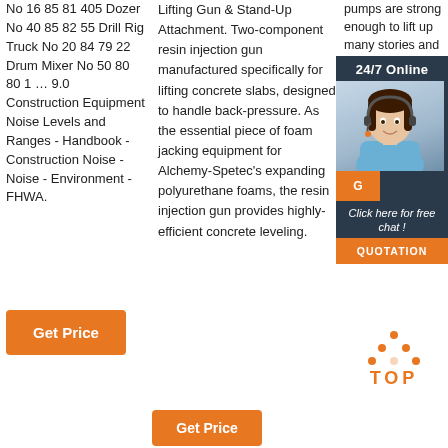No 16 85 81 405 Dozer No 40 85 82 55 Drill Rig Truck No 20 84 79 22 Drum Mixer No 50 80 80 1 … 9.0 Construction Equipment Noise Levels and Ranges - Handbook - Construction Noise - Noise - Environment - FHWA.
Lifting Gun & Stand-Up Attachment. Two-component resin injection gun manufactured specifically for lifting concrete slabs, designed to handle back-pressure. As the essential piece of foam jacking equipment for Alchemy-Spetec's expanding polyurethane foams, the resin injection gun provides highly-efficient concrete leveling.
pumps are strong enough to lift up many stories and even lift slabs of concrete. It's worth noting that certified concrete pumps...
[Figure (photo): 24/7 Online chat widget with a woman wearing a headset, orange quotation button, and click here for free chat text]
Get Price
Get Price (second button, partially visible)
[Figure (logo): TOP icon with orange dots arranged in a triangle above the word TOP in orange bold letters]